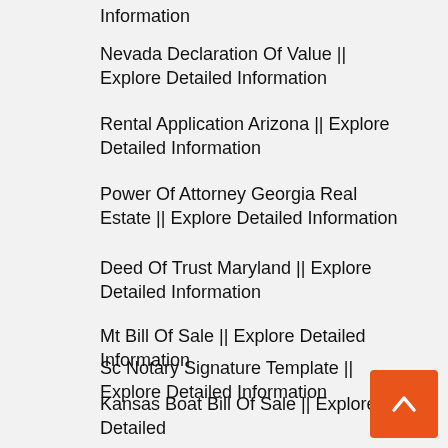Information
Nevada Declaration Of Value || Explore Detailed Information
Rental Application Arizona || Explore Detailed Information
Power Of Attorney Georgia Real Estate || Explore Detailed Information
Deed Of Trust Maryland || Explore Detailed Information
Mt Bill Of Sale || Explore Detailed Information
Sc Notary Signature Template || Explore Detailed Information
Kansas Boat Bill Of Sale || Explore Detailed Information
Office Sharing Agreement || Explore Detailed Information
Boy Scout Donation Receipt || Explore Detailed Information